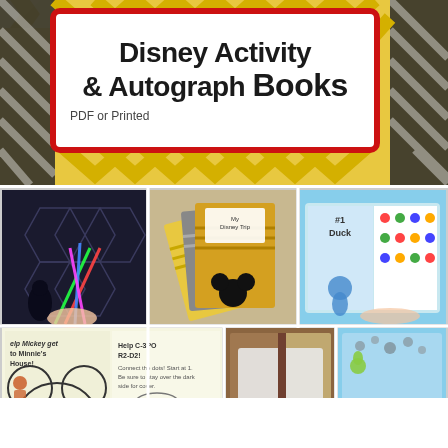[Figure (illustration): Promotional graphic for Disney Activity & Autograph Books. Top section has yellow chevron/zigzag pattern background with a white box bordered in red containing the title text. Below are six photos in a 3x2 grid showing: a Star Wars activity page with lightsabers, three chevron-patterned book covers with Mickey Mouse heads, an open autograph book with #1 Duck page, an open maze activity book with Mickey and C-3PO puzzles, an open brown leather-look book, and an open blue polka-dot autograph book with Disney characters.]